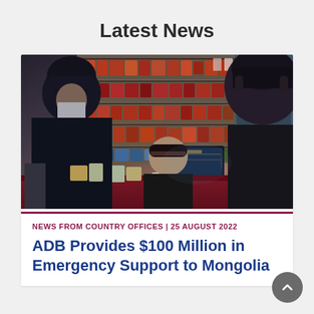Latest News
[Figure (photo): A person in a black winter hat and jacket leaning over a store checkout counter, with a female cashier at a point-of-sale terminal and shelves of packaged snacks in the background. Another person in dark clothing stands to the right.]
NEWS FROM COUNTRY OFFICES | 25 AUGUST 2022
ADB Provides $100 Million in Emergency Support to Mongolia